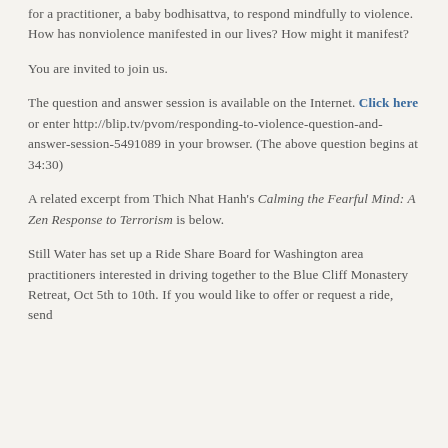for a practitioner, a baby bodhisattva, to respond mindfully to violence. How has nonviolence manifested in our lives? How might it manifest?
You are invited to join us.
The question and answer session is available on the Internet. Click here or enter http://blip.tv/pvom/responding-to-violence-question-and-answer-session-5491089 in your browser. (The above question begins at 34:30)
A related excerpt from Thich Nhat Hanh's Calming the Fearful Mind: A Zen Response to Terrorism is below.
Still Water has set up a Ride Share Board for Washington area practitioners interested in driving together to the Blue Cliff Monastery Retreat, Oct 5th to 10th. If you would like to offer or request a ride, send